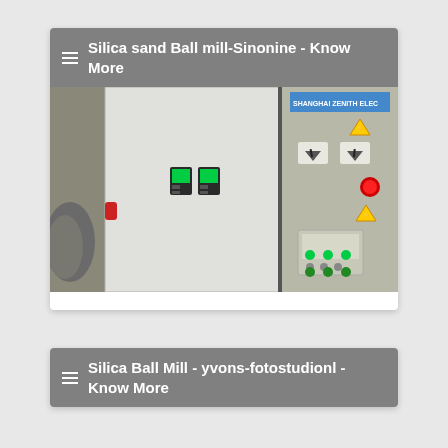☰ Silica sand Ball mill-Sinonine - Know More
[Figure (photo): Industrial electrical control panels for a ball mill system, showing Shanghai Zenith Electric control cabinets with green indicator lights, meters, switches and warning signs]
☰ Silica Ball Mill - yvons-fotostudionl - Know More